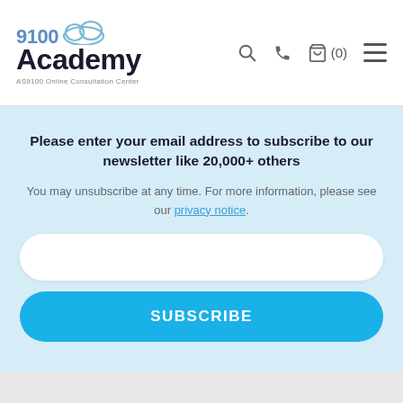9100 Academy — AS9100 Online Consultation Center
Please enter your email address to subscribe to our newsletter like 20,000+ others
You may unsubscribe at any time. For more information, please see our privacy notice.